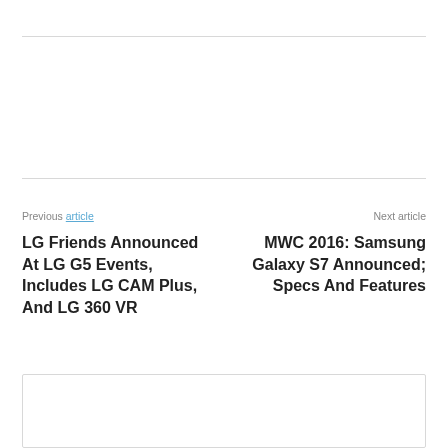Previous article
Next article
LG Friends Announced At LG G5 Events, Includes LG CAM Plus, And LG 360 VR
MWC 2016: Samsung Galaxy S7 Announced; Specs And Features